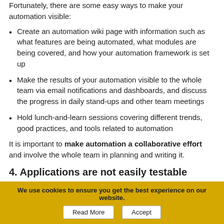Fortunately, there are some easy ways to make your automation visible:
Create an automation wiki page with information such as what features are being automated, what modules are being covered, and how your automation framework is set up
Make the results of your automation visible to the whole team via email notifications and dashboards, and discuss the progress in daily stand-ups and other team meetings
Hold lunch-and-learn sessions covering different trends, good practices, and tools related to automation
It is important to make automation a collaborative effort and involve the whole team in planning and writing it.
4. Applications are not easily testable
Teams do not often pay attention to the testability of their software. What do I mean by that? If you build an application, you also need to
We use cookies to ensure you get the best experience on our website.